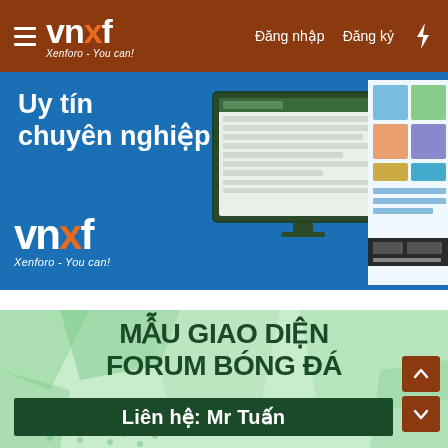vnxf — Xenforo - You can! | Đăng nhập | Đăng ký
[Figure (screenshot): Blue banner advertisement for vnxf (Xenforo - You can!) with text 'Uy tín chuyên nghiệp' and screenshot of forum interface]
[Figure (illustration): Green banner advertisement for Mẫu giao diện forum bóng đá with contact info 'Liên hệ: Mr Tuấn']